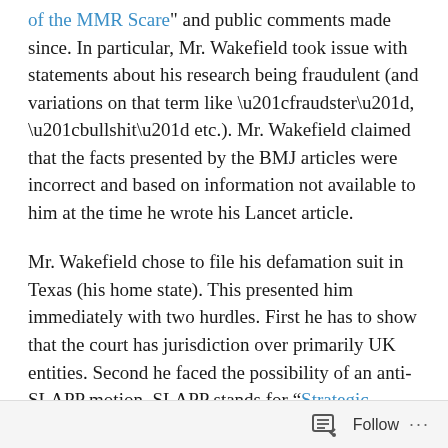of the MMR Scare" and public comments made since. In particular, Mr. Wakefield took issue with statements about his research being fraudulent (and variations on that term like “fraudster”, “bullshit” etc.). Mr. Wakefield claimed that the facts presented by the BMJ articles were incorrect and based on information not available to him at the time he wrote his Lancet article.
Mr. Wakefield chose to file his defamation suit in Texas (his home state). This presented him immediately with two hurdles. First he has to show that the court has jurisdiction over primarily UK entities. Second he faced the possibility of an anti-SLAPP motion. SLAPP stands for “Strategic lawsuit against public participation”. Per Wikipedia:
A...
Follow ...